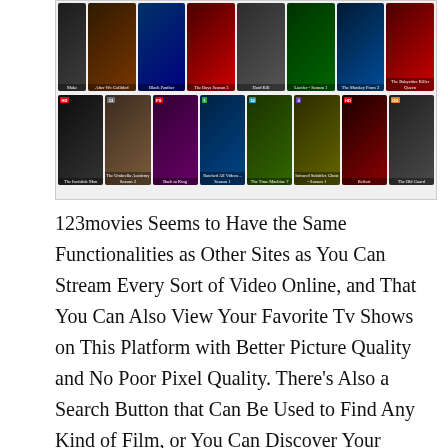[Figure (screenshot): A streaming website interface showing two rows of movie/TV show thumbnail images including titles like Black Panther, The Boys Season 3, Hard Kill, Lucifer Season 1, The Babysitter Killer Queen, The Invisible Man, The Umbrella Academy Season 2, Back to King, Ratched Season 1, The Time Machine, Infrared Subtitles Ghost Season 1, Belfort, The Old Guard.]
123movies Seems to Have the Same Functionalities as Other Sites as You Can Stream Every Sort of Video Online, and That You Can Also View Your Favorite Tv Shows on This Platform with Better Picture Quality and No Poor Pixel Quality. There’s Also a Search Button that Can Be Used to Find Any Kind of Film, or You Can Discover Your Favorite Film on The Home Page, so You Can Locate All Kinds of Movies Like Romance, Humor, and Action Horror, and So On. This Website Still Includes